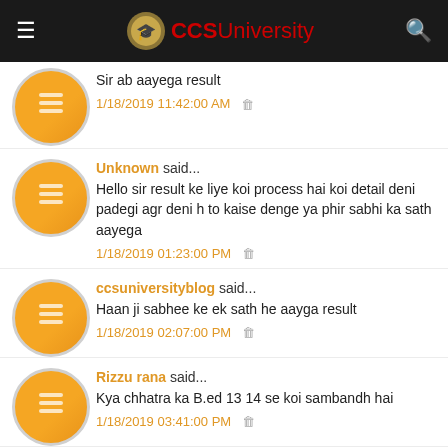CCSUniversity
Sir ab aayega result
1/18/2019 11:42:00 AM
Unknown said...
Hello sir result ke liye koi process hai koi detail deni padegi agr deni h to kaise denge ya phir sabhi ka sath aayega
1/18/2019 01:23:00 PM
ccsuniversityblog said...
Haan ji sabhee ke ek sath he aayga result
1/18/2019 02:07:00 PM
Rizzu rana said...
Kya chhatra ka B.ed 13 14 se koi sambandh hai
1/18/2019 03:41:00 PM
Unknown said...
sir ji ab jo lucknow se rok lagi hai uski court me hearing kab hai kitne din lag jaenge ab bataeye
1/19/2019 11:27:00 AM
ccsuniversityblog said...